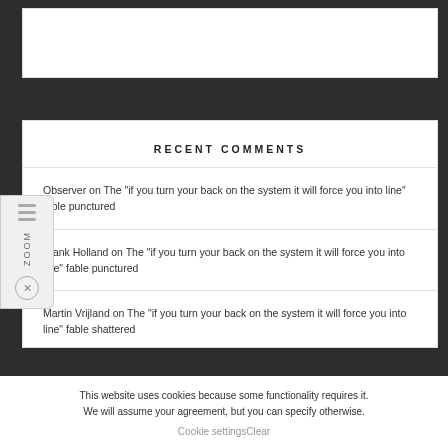RECENT COMMENTS
Observer on The "if you turn your back on the system it will force you into line" fable punctured
Frank Holland on The "if you turn your back on the system it will force you into line" fable punctured
Martin Vrijland on The "if you turn your back on the system it will force you into line" fable shattered
This website uses cookies because some functionality requires it. We will assume your agreement, but you can specify otherwise.
Cookie settingsClear